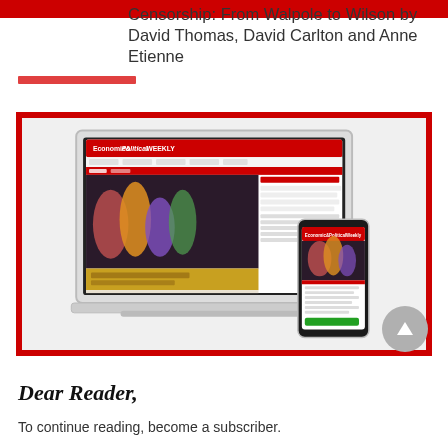Censorship: From Walpole to Wilson by David Thomas, David Carlton and Anne Etienne
[Figure (screenshot): Screenshot of the Economic & Political Weekly website displayed on a laptop with a mobile phone showing the same site beside it, framed in a red border box.]
Dear Reader,
To continue reading, become a subscriber.